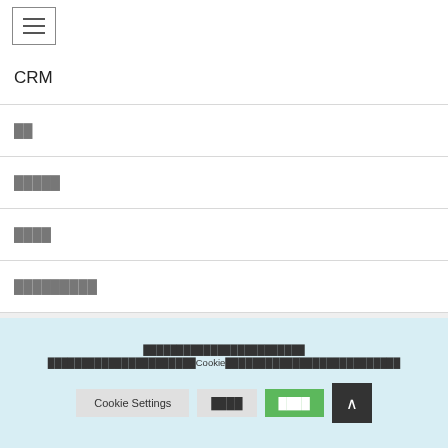≡
CRM
██
█████
████
█████████
████████
██
████████████████ ██████████████████Cookie██████████████████
Cookie Settings | ████ | ████